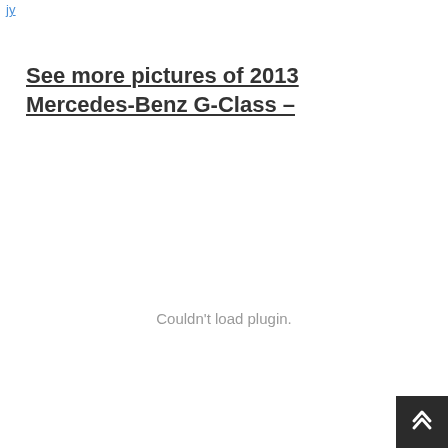jy
See more pictures of 2013 Mercedes-Benz G-Class –
Couldn't load plugin.